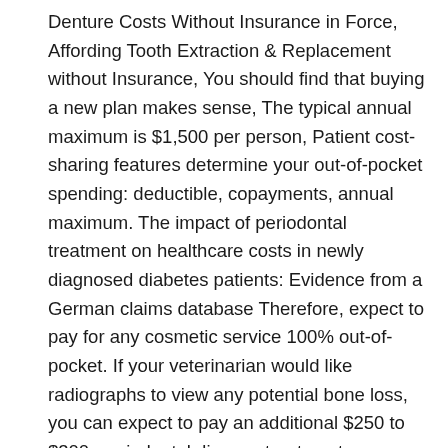Denture Costs Without Insurance in Force, Affording Tooth Extraction & Replacement without Insurance, You should find that buying a new plan makes sense, The typical annual maximum is $1,500 per person, Patient cost-sharing features determine your out-of-pocket spending: deductible, copayments, annual maximum. The impact of periodontal treatment on healthcare costs in newly diagnosed diabetes patients: Evidence from a German claims database Therefore, expect to pay for any cosmetic service 100% out-of-pocket. If your veterinarian would like radiographs to view any potential bone loss, you can expect to pay an additional $250 to $300. periodontal disease treatment (Periodontics) periodontal disease treatment (Periodontics) Periodontitis (dentistically correct: periodontitis) is a real widespread disease, which affects about 80 percent of people over 40 in their lifetime in this country. Costs range from $1,000 to $3,000 for the procedure. Your gums do not shrink overnight. Paying the periodontist without dental insurance will prove unnecessarily expensive because both the prices and the number